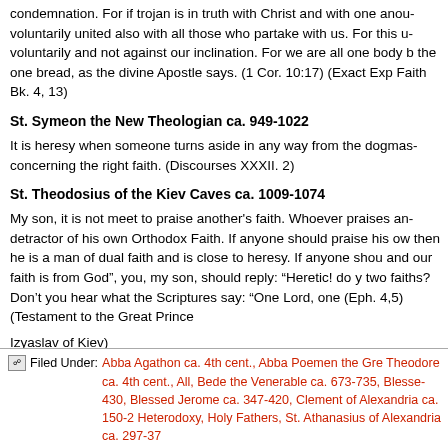condemnation. For if Trojan is in truth with Christ and with one another, voluntarily united also with all those who partake with us. For this u... voluntarily and not against our inclination. For we are all one body b... the one bread, as the divine Apostle says. (1 Cor. 10:17) (Exact Exp... Faith Bk. 4, 13)
St. Symeon the New Theologian ca. 949-1022
It is heresy when someone turns aside in any way from the dogmas... concerning the right faith. (Discourses XXXII. 2)
St. Theodosius of the Kiev Caves ca. 1009-1074
My son, it is not meet to praise another's faith. Whoever praises an... detractor of his own Orthodox Faith. If anyone should praise his own... then he is a man of dual faith and is close to heresy. If anyone shou... and our faith is from God”, you, my son, should reply: “Heretic! do y... two faiths? Don’t you hear what the Scriptures say: “One Lord, one... (Eph. 4,5) (Testament to the Great Prince
Izyaslav of Kiev)
Filed Under: Abba Agathon ca. 4th cent., Abba Poemen the Gre... Theodore ca. 4th cent., All, Bede the Venerable ca. 673-735, Blesse... 430, Blessed Jerome ca. 347-420, Clement of Alexandria ca. 150-2... Heterodoxy, Holy Fathers, St. Athanasius of Alexandria ca. 297-37...